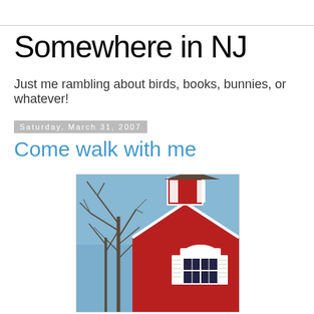Somewhere in NJ
Just me rambling about birds, books, bunnies, or whatever!
Saturday, March 31, 2007
Come walk with me
[Figure (photo): Photo of a red barn with a white cupola and weather vane on top, shuttered window with arched detail, against a blue sky with bare trees to the left.]